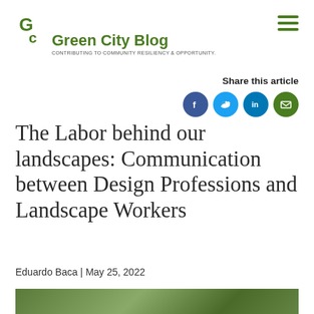Green City Blog — CONTRIBUTING TO COMMUNITY RESILIENCY & OPPORTUNITY.
Share this article
The Labor behind our landscapes: Communication between Design Professions and Landscape Workers
Eduardo Baca | May 25, 2022
[Figure (photo): Outdoor photo showing landscape workers among trees and foliage]